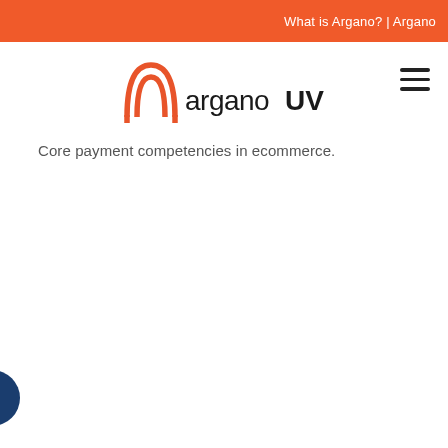What is Argano? | Argano
[Figure (logo): ArganoUV logo with orange arch icon and text 'arganoUV' in black]
Core payment competencies in ecommerce.
[Figure (illustration): Partial dark blue circle/globe visible at bottom-left corner of page]